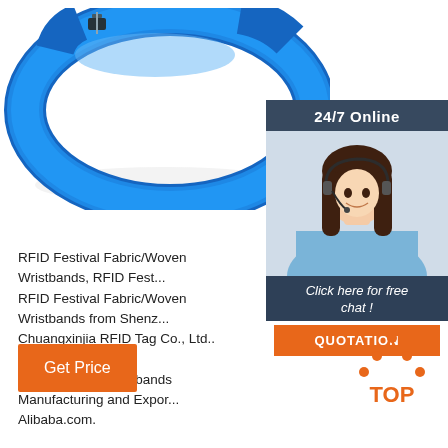[Figure (photo): Blue silicone/rubber RFID wristband on white background, top portion of product photo]
[Figure (photo): 24/7 Online chat widget with woman wearing headset, dark blue background, orange QUOTATION button]
RFID Festival Fabric/Woven Wristbands, RFID Fest... RFID Festival Fabric/Woven Wristbands from Shenz... Chuangxinjia RFID Tag Co., Ltd.. Search High Qual... Fabric/Woven Wristbands Manufacturing and Expor... Alibaba.com.
[Figure (illustration): Orange Get Price button]
[Figure (logo): TOP logo with orange dots forming a triangle above the word TOP in orange]